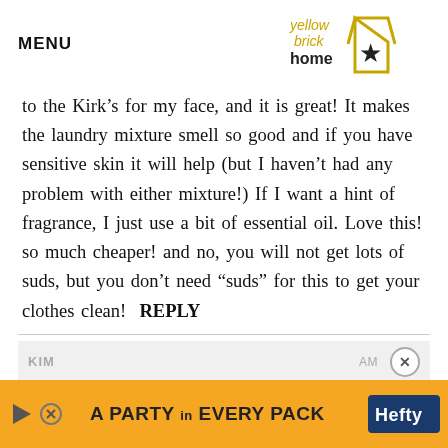MENU | yellow brick home
to the Kirk’s for my face, and it is great! It makes the laundry mixture smell so good and if you have sensitive skin it will help (but I haven’t had any problem with either mixture!) If I want a hint of fragrance, I just use a bit of essential oil. Love this! so much cheaper! and no, you will not get lots of suds, but you don’t need “suds” for this to get your clothes clean!  REPLY
KIM ... AM
Hi
[Figure (advertisement): Hefty brand advertisement banner: orange background with text 'A PARTY in EVERY PACK' and Hefty logo with product image]